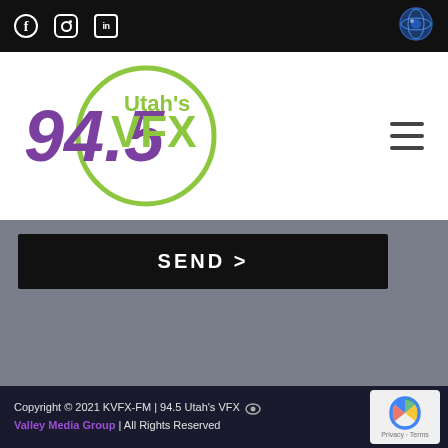[Figure (screenshot): Top black navigation bar with social media icons (Facebook, Instagram, LinkedIn) and a circular logo icon on the right]
[Figure (logo): 94.5 Utah's VFX radio station logo — purple bold numerals '94.5' with green circle and 'Utah's VFX' text inside, with hamburger menu icon on right]
SEND >
Copyright © 2021 KVFX-FM | 94.5 Utah's VFX  Valley Media Group | All Rights Reserved